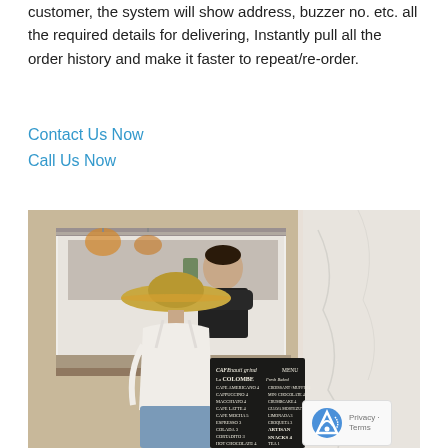customer, the system will show address, buzzer no. etc. all the required details for delivering, Instantly pull all the order history and make it faster to repeat/re-order.
Contact Us Now
Call Us Now
[Figure (photo): A woman with a straw hat and white top standing at a cafe counter ordering, with a male barista behind the counter. A chalkboard menu is visible showing cafe items including La Colombe, Cafe Americano, Cappuccino, Macchiato, Cafe Latte, Cafe Mocha, Espresso, Colada, Cortadito, Hot Chocolate, Draft and various prices. The cafe has a bright, airy interior.]